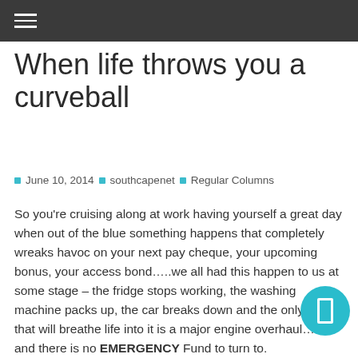☰
When life throws you a curveball
June 10, 2014  southcapenet  Regular Columns
So you're cruising along at work having yourself a great day when out of the blue something happens that completely wreaks havoc on your next pay cheque, your upcoming bonus, your access bond…..we all had this happen to us at some stage – the fridge stops working, the washing machine packs up, the car breaks down and the only thing that will breathe life into it is a major engine overhaul……and there is no EMERGENCY Fund to turn to.